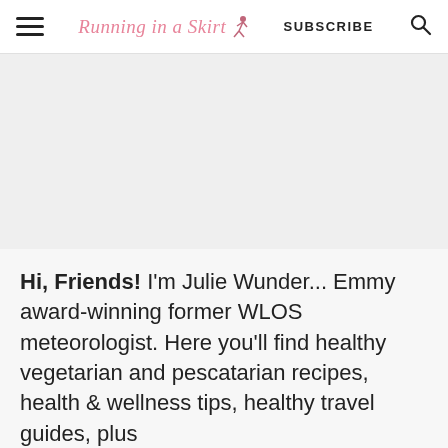Running in a Skirt  SUBSCRIBE
[Figure (photo): Gray rectangular placeholder image area]
Hi, Friends! I'm Julie Wunder... Emmy award-winning former WLOS meteorologist. Here you'll find healthy vegetarian and pescatarian recipes, health & wellness tips, healthy travel guides, plus behind the scenes fun from my life as a